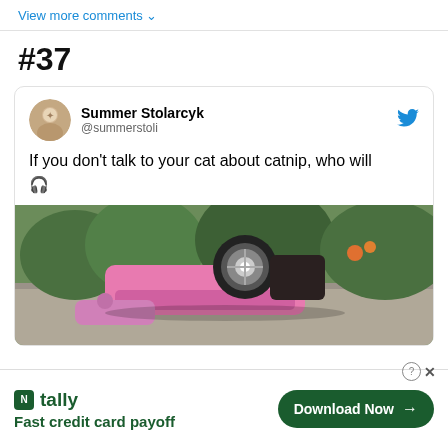View more comments ∨
#37
Summer Stolarcyk @summerstoli
If you don't talk to your cat about catnip, who will 🎧
[Figure (photo): An overturned pink toy car on a sidewalk with greenery in the background]
[Figure (infographic): Tally advertisement banner: 'Fast credit card payoff' with Download Now button]